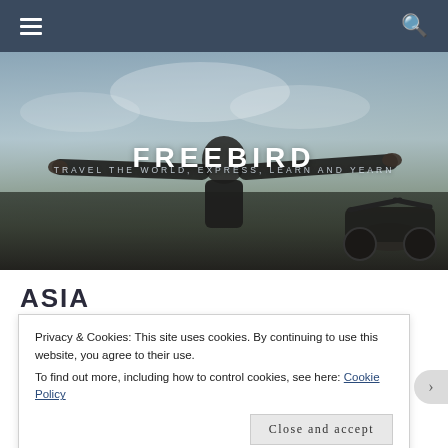Navigation bar with hamburger menu and search icon
[Figure (photo): Hero image of a motorcyclist in a leather jacket with arms outstretched against a dramatic sky, with a motorcycle visible on the right. Text overlay reads FREEBIRD and TRAVEL THE WORLD, EXPRESS, LEARN AND YEARN]
FREEBIRD
TRAVEL THE WORLD, EXPRESS, LEARN AND YEARN
ASIA
Privacy & Cookies: This site uses cookies. By continuing to use this website, you agree to their use.
To find out more, including how to control cookies, see here: Cookie Policy
Close and accept